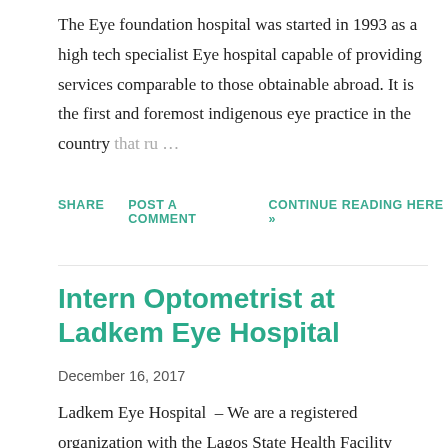The Eye foundation hospital was started in 1993 as a high tech specialist Eye hospital capable of providing services comparable to those obtainable abroad. It is the first and foremost indigenous eye practice in the country that ru…
SHARE   POST A COMMENT   CONTINUE READING HERE »
Intern Optometrist at Ladkem Eye Hospital
December 16, 2017
Ladkem Eye Hospital  – We are a registered organization with the Lagos State Health Facility Monitoring Agency and the National Health Insurance Scheme as secondary